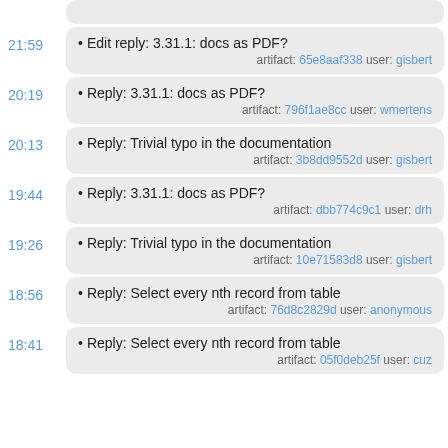21:59 • Edit reply: 3.31.1: docs as PDF? artifact: 65e8aaf338 user: gisbert
20:19 • Reply: 3.31.1: docs as PDF? artifact: 796f1ae8cc user: wmertens
20:13 • Reply: Trivial typo in the documentation artifact: 3b8dd9552d user: gisbert
19:44 • Reply: 3.31.1: docs as PDF? artifact: dbb774c9c1 user: drh
19:26 • Reply: Trivial typo in the documentation artifact: 10e71583d8 user: gisbert
18:56 • Reply: Select every nth record from table artifact: 76d8c2829d user: anonymous
18:41 • Reply: Select every nth record from table artifact: 05f0deb25f user: cuz